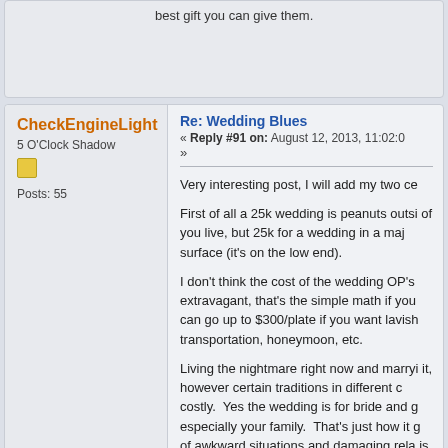best gift you can give them.
CheckEngineLight
5 O'Clock Shadow
Posts: 55
Re: Wedding Blues
« Reply #91 on: August 12, 2013, 11:02:0 »
Very interesting post, I will add my two ce
First of all a 25k wedding is peanuts outsi of you live, but 25k for a wedding in a maj surface (it's on the low end).
I don't think the cost of the wedding OP's extravagant, that's the simple math if you can go up to $300/plate if you want lavish transportation, honeymoon, etc.
Living the nightmare right now and marryi it, however certain traditions in different c costly.  Yes the wedding is for bride and g especially your family.  That's just how it g of awkward situations and damaging rela is life, enjoy your stay and make the best